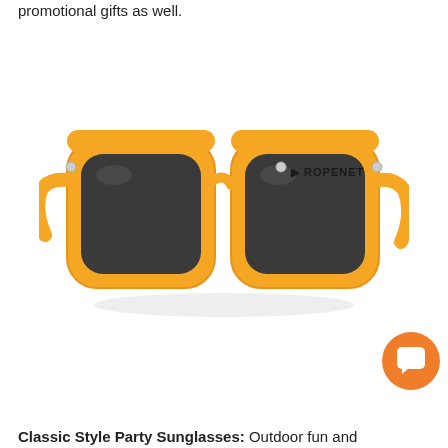promotional gifts as well.
[Figure (photo): Orange classic style party sunglasses with dark lenses and 'ROPENET' branding on the right temple arm.]
Classic Style Party Sunglasses: Outdoor fun and